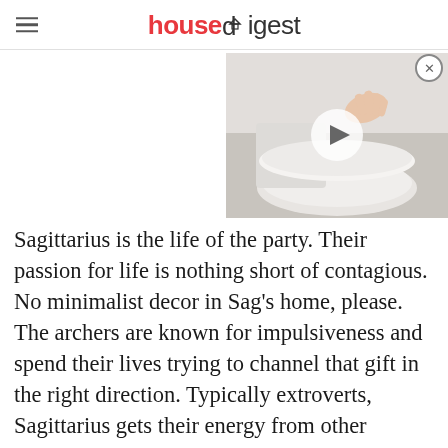housedigest
[Figure (screenshot): Video thumbnail showing a hand lifting a toilet seat lid, with a white play button overlay in the center]
Sagittarius is the life of the party. Their passion for life is nothing short of contagious. No minimalist decor in Sag's home, please. The archers are known for impulsiveness and spend their lives trying to channel that gift in the right direction. Typically extroverts, Sagittarius gets their energy from other people. Plop them in the middle of a noisy restaurant, and they'll thrive. Keep them stuck at home alone for days, and the Sagittarius